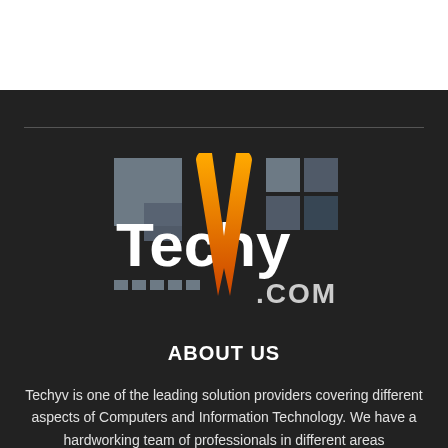[Figure (logo): Techyv.com logo with grey squares, orange/yellow V shape, grid icon, and .COM text]
ABOUT US
Techyv is one of the leading solution providers covering different aspects of Computers and Information Technology. We have a hardworking team of professionals in different areas